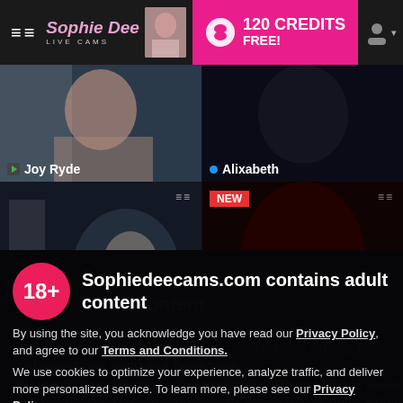Sophie Dee Live Cams — 120 CREDITS FREE!
[Figure (screenshot): Two live cam thumbnail previews: Joy Ryde (left) and Alixabeth (right)]
[Figure (screenshot): Two more live cam thumbnail previews, lower row. Left thumbnail has a grid icon. Right thumbnail marked NEW.]
Sophiedeecams.com contains adult content
By using the site, you acknowledge you have read our Privacy Policy, and agree to our Terms and Conditions.
We use cookies to optimize your experience, analyze traffic, and deliver more personalized service. To learn more, please see our Privacy Policy.
I AGREE